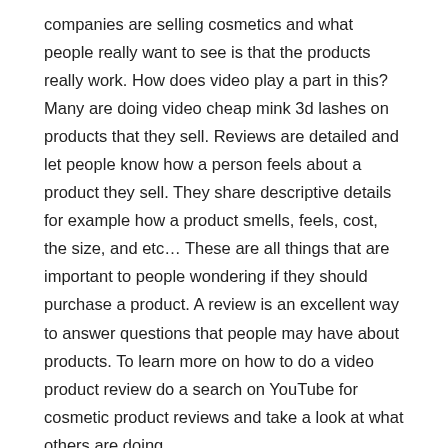companies are selling cosmetics and what people really want to see is that the products really work. How does video play a part in this? Many are doing video cheap mink 3d lashes on products that they sell. Reviews are detailed and let people know how a person feels about a product they sell. They share descriptive details for example how a product smells, feels, cost, the size, and etc… These are all things that are important to people wondering if they should purchase a product. A review is an excellent way to answer questions that people may have about products. To learn more on how to do a video product review do a search on YouTube for cosmetic product reviews and take a look at what others are doing.
Social Media
If you use social like me then you should really take advantage of the opportunities that are available to promote a business. I don't suggest using a cheap mink 3d lashes page to promote a business. I do however feel that it's perfectly fine to post maybe